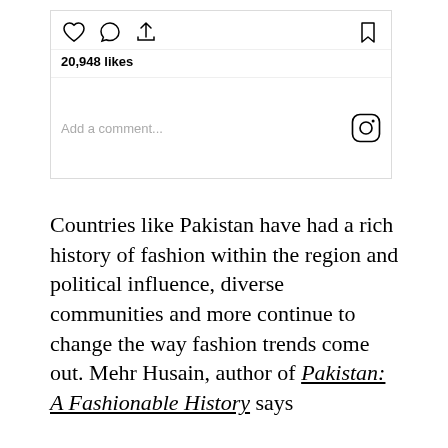[Figure (screenshot): Instagram post action bar showing heart (like), comment bubble, share icons on the left and bookmark icon on the right, with 20,948 likes count and Add a comment... placeholder with Instagram logo icon]
Countries like Pakistan have had a rich history of fashion within the region and political influence, diverse communities and more continue to change the way fashion trends come out. Mehr Husain, author of Pakistan: A Fashionable History says